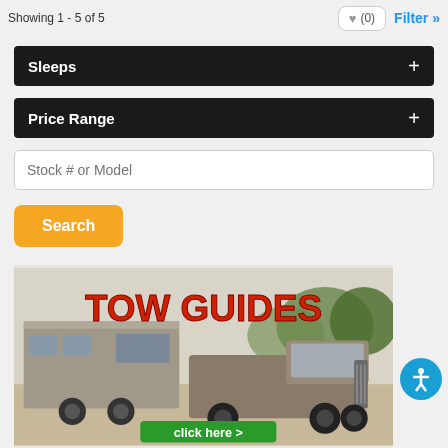Showing 1 - 5 of 5
Sleeps
Price Range
Stock # or Model
Search
[Figure (photo): Advertisement image showing a truck towing a fifth-wheel RV with text 'TOW GUIDES' in large red letters and a green 'click here >' button at the bottom]